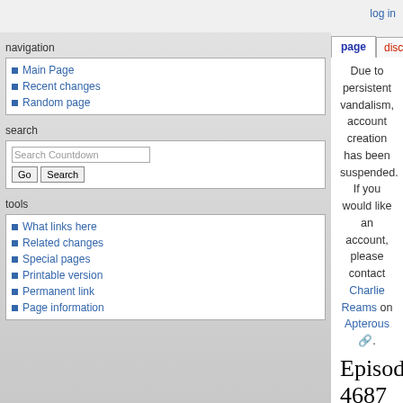log in
page | discussion | view source | history
Due to persistent vandalism, account creation has been suspended. If you would like an account, please contact Charlie Reams on Apterous.
Episode 4687
Revision as of 12:44, 29 October 2010 by JRTerrier24 (talk | contribs)
(diff) ← Older revision | Latest revision (diff) | Newer revision → (diff)
Episode 4687 was broadcast on 10 October 2008, as part of Series 59.
< Previous | Next >
Kai Laddiman played Hardev Raikmo, with Kai Laddiman winning 91 – 59. The Dictionary Corner guest was Nicholas Owen, and the lexicographer was Susie Dent.
Rounds
Main Page
Recent changes
Random page
What links here
Related changes
Special pages
Printable version
Permanent link
Page information